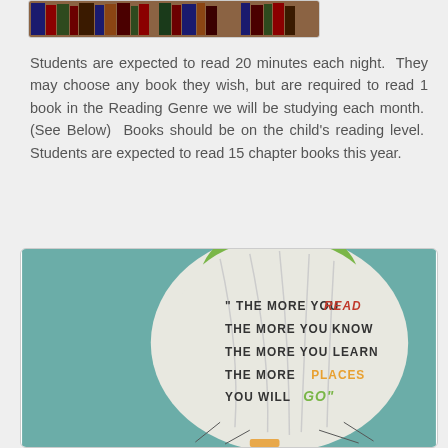[Figure (photo): Row of books on a shelf, partially cropped at top of page]
Students are expected to read 20 minutes each night.  They may choose any book they wish, but are required to read 1 book in the Reading Genre we will be studying each month.  (See Below)  Books should be on the child's reading level.  Students are expected to read 15 chapter books this year.
[Figure (illustration): Hot air balloon illustration on teal background with Dr. Seuss quote: 'The more you READ the more you KNOW the more you LEARN the more PLACES you will GO']